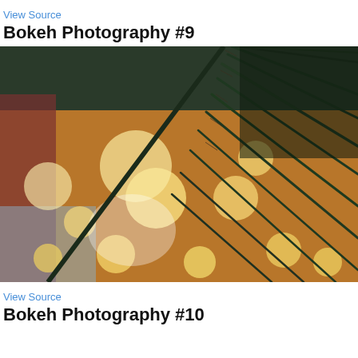View Source
Bokeh Photography #9
[Figure (photo): Close-up bokeh photography of a palm frond branch with dark green leaves in sharp focus, set against a warm orange/golden blurred background with multiple circular bokeh light orbs scattered throughout.]
View Source
Bokeh Photography #10